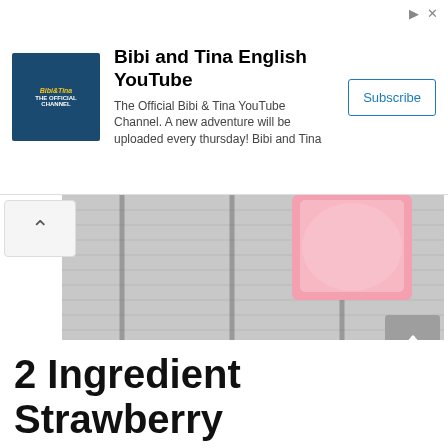[Figure (screenshot): Bibi and Tina English YouTube channel advertisement banner with logo, description text, and Subscribe button]
[Figure (photo): Strawberry Fudge recipe photo showing a pink piece of fudge on a textured surface with a pink ribbon banner overlay reading 'Strawberry Fudge' in cursive, and 'Daily Dish Magazine' text below]
2 Ingredient Strawberry Fudge